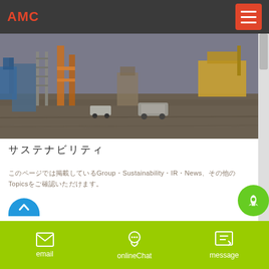AMC
[Figure (photo): Construction site with heavy machinery, equipment, ladders, and vehicles on a dirt ground]
サステナビリティ
このページでは掲載しているGroup、Sustainability、IR、News、その他のTopicsをご確認いただけます。
email   onlineChat   message